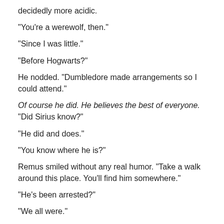decidedly more acidic.
"You're a werewolf, then."
"Since I was little."
"Before Hogwarts?"
He nodded. "Dumbledore made arrangements so I could attend."
Of course he did. He believes the best of everyone. "Did Sirius know?"
"He did and does."
"You know where he is?"
Remus smiled without any real humor. "Take a walk around this place. You'll find him somewhere."
"He's been arrested?"
"We all were."
"All," Andromeda repeated.
"Sirius, Aletha, Danger, and myself."
Andy vacillated between two questions, and went with the one she